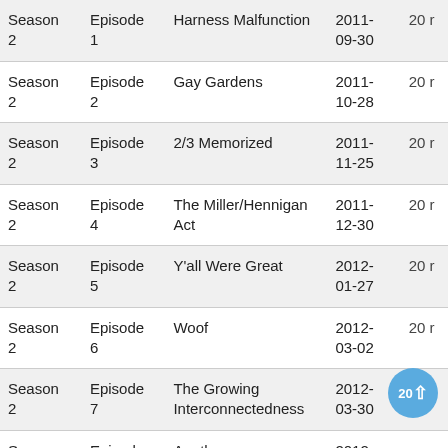| Season | Episode | Title | Date | Rating |
| --- | --- | --- | --- | --- |
| Season 2 | Episode 1 | Harness Malfunction | 2011-09-30 | 20 r |
| Season 2 | Episode 2 | Gay Gardens | 2011-10-28 | 20 r |
| Season 2 | Episode 3 | 2/3 Memorized | 2011-11-25 | 20 r |
| Season 2 | Episode 4 | The Miller/Hennigan Act | 2011-12-30 | 20 r |
| Season 2 | Episode 5 | Y'all Were Great | 2012-01-27 | 20 r |
| Season 2 | Episode 6 | Woof | 2012-03-02 | 20 r |
| Season 2 | Episode 7 | The Growing Interconnectedness | 2012-03-30 | 20 r |
| Season 2 | Episode | Another | 2012- |  |